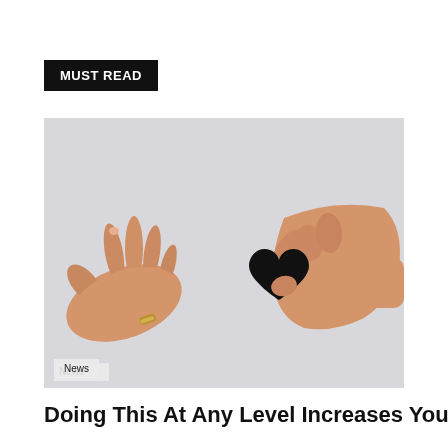MUST READ
[Figure (photo): Two hands reaching toward each other, one hand holding a small black paper heart cutout, against a light gray background.]
News
Doing This At Any Level Increases Your